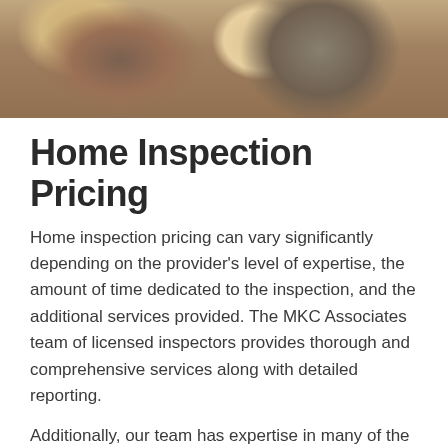[Figure (photo): Banner photo showing people, appears to be a home inspection or real estate related scene with multiple people visible]
Home Inspection Pricing
Home inspection pricing can vary significantly depending on the provider's level of expertise, the amount of time dedicated to the inspection, and the additional services provided. The MKC Associates team of licensed inspectors provides thorough and comprehensive services along with detailed reporting.
Additionally, our team has expertise in many of the historical building styles and construction practices that are unique to the Boston area. This experience allows us to assess the quality of homes that are hundreds of years old. General pricing is available in our home inspection services price list.